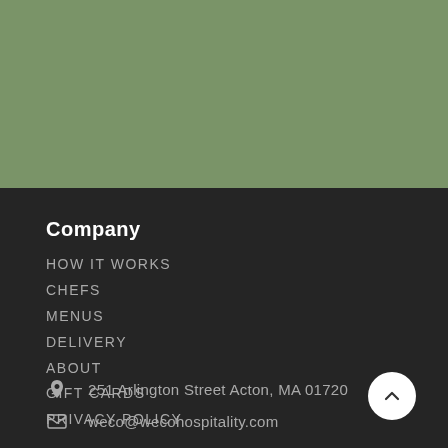[Figure (illustration): Olive/sage green background section occupying the top portion of the page]
Company
HOW IT WORKS
CHEFS
MENUS
DELIVERY
ABOUT
GIFT CARDS
PRIVACY POLICY
251 Arlington Street Acton, MA 01720
weco@wecohospitality.com